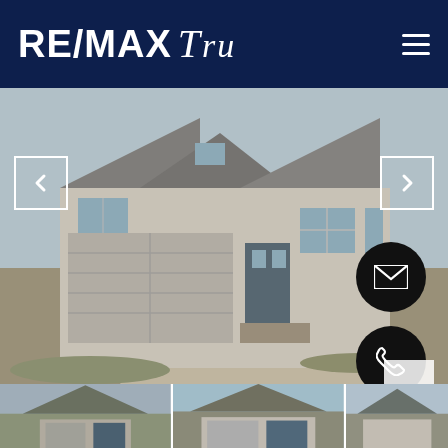[Figure (logo): RE/MAX TRU real estate logo in white text on dark navy background with hamburger menu icon]
[Figure (photo): Exterior photo of a suburban craftsman-style house with two-car garage, stone accents, and front lawn. Left and right navigation arrows overlaid. Two floating circular action buttons (email envelope and phone) on right side.]
[Figure (photo): Thumbnail strip at bottom showing three smaller preview photos of the same or similar property listings.]